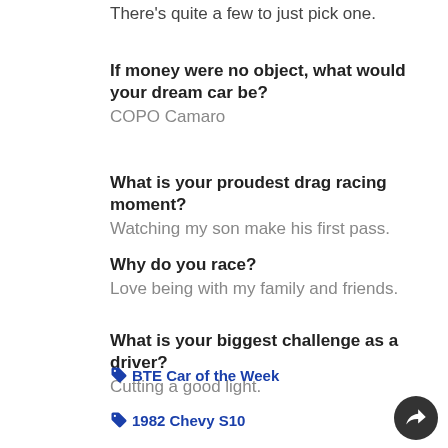There's quite a few to just pick one.
If money were no object, what would your dream car be?
COPO Camaro
What is your proudest drag racing moment?
Watching my son make his first pass.
Why do you race?
Love being with my family and friends.
What is your biggest challenge as a driver?
Cutting a good light.
BTE Car of the Week
1982 Chevy S10